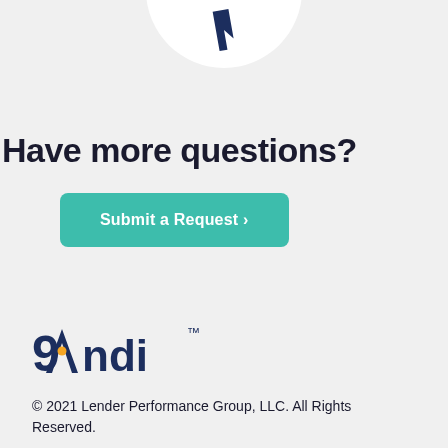[Figure (illustration): Partial circle with a cursor/arrow icon visible at the top of the page, cropped]
Have more questions?
Submit a Request ›
[Figure (logo): Andi logo — stylized A with an orange dot followed by 'ndi' in navy blue, with TM superscript]
© 2021 Lender Performance Group, LLC. All Rights Reserved.